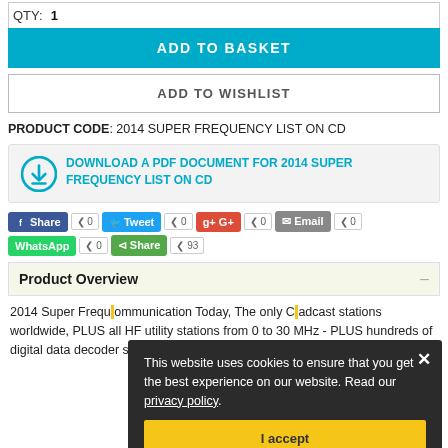QTY: 1
ADD TO BASKET
ADD TO WISHLIST
PRODUCT CODE: 2014 SUPER FREQUENCY LIST ON CD
DOWNLOAD A PDF DOCUMENT FOR 2014 SUPER FREQUENCY LIST ON CD
Share 0  Tweet 0  G+ 0  Email 0  WhatsApp 0  Share 93
Product Overview
2014 Super Frequency ... communication Today, The only C... adcast stations worldwide, PLUS all HF utility stations from 0 to 30 MHz - PLUS hundreds of digital data decoder screenshots!
This website uses cookies to ensure that you get the best experience on our website. Read our privacy policy.
I accept